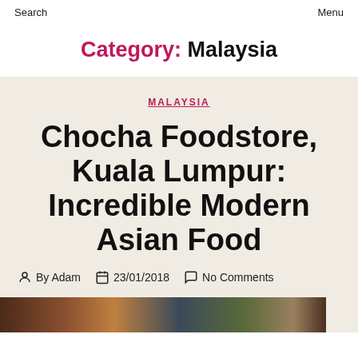Search   Menu
Category: Malaysia
MALAYSIA
Chocha Foodstore, Kuala Lumpur: Incredible Modern Asian Food
By Adam   23/01/2018   No Comments
[Figure (photo): Bottom strip showing a food/restaurant photo, partially visible at bottom of page]